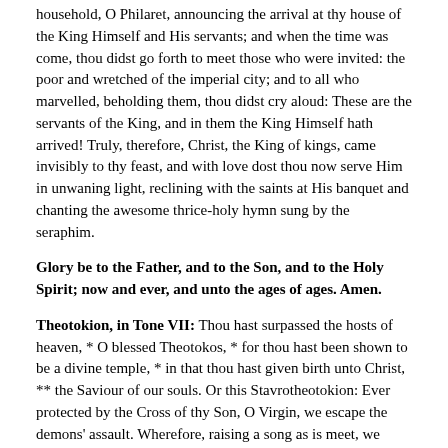household, O Philaret, announcing the arrival at thy house of the King Himself and His servants; and when the time was come, thou didst go forth to meet those who were invited: the poor and wretched of the imperial city; and to all who marvelled, beholding them, thou didst cry aloud: These are the servants of the King, and in them the King Himself hath arrived! Truly, therefore, Christ, the King of kings, came invisibly to thy feast, and with love dost thou now serve Him in unwaning light, reclining with the saints at His banquet and chanting the awesome thrice-holy hymn sung by the seraphim.
Glory be to the Father, and to the Son, and to the Holy Spirit; now and ever, and unto the ages of ages. Amen.
Theotokion, in Tone VII: Thou hast surpassed the hosts of heaven, * O blessed Theotokos, * for thou hast been shown to be a divine temple, * in that thou hast given birth unto Christ, ** the Saviour of our souls. Or this Stavrotheotokion: Ever protected by the Cross of thy Son, O Virgin, we escape the demons' assault. Wherefore, raising a song as is meet, we glorify thee, O all-hymned Theotokos.
Ode IV, Irmos: I have heard report of Thy dispensation, O Lord, *